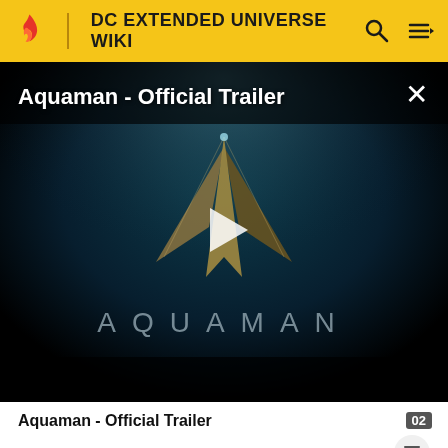DC EXTENDED UNIVERSE WIKI
[Figure (screenshot): Video player showing Aquaman Official Trailer with dark underwater background featuring the Aquaman logo (stylized trident/fish symbol) and the word AQUAMAN in spaced letters. A white play button triangle is centered on the screen. Title text 'Aquaman - Official Trailer' appears top-left in white. A white X close button appears top-right.]
Aquaman - Official Trailer
forthcoming attack, one of which drowns Tom. Mera saves Tom with her powers, earning her Arthur's trust. Arthur accompanies Mera to a rendezvous with Vulko